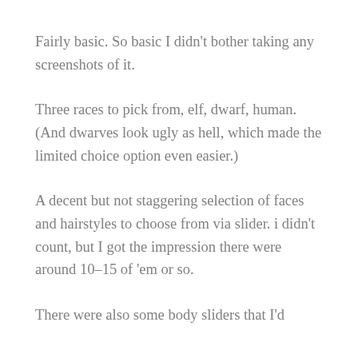Fairly basic. So basic I didn't bother taking any screenshots of it.
Three races to pick from, elf, dwarf, human. (And dwarves look ugly as hell, which made the limited choice option even easier.)
A decent but not staggering selection of faces and hairstyles to choose from via slider. i didn't count, but I got the impression there were around 10–15 of 'em or so.
There were also some body sliders that I'd